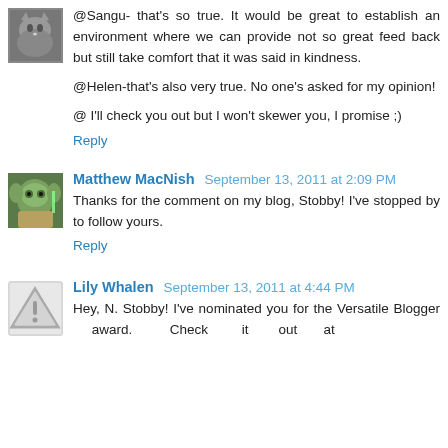[Figure (photo): Small avatar thumbnail of a cat or animal, top-left corner]
@Sangu- that's so true. It would be great to establish an environment where we can provide not so great feed back but still take comfort that it was said in kindness.

@Helen-that's also very true. No one's asked for my opinion!

@ I'll check you out but I won't skewer you, I promise ;)
Reply
[Figure (photo): Small avatar thumbnail of Yoda from Star Wars]
Matthew MacNish  September 13, 2011 at 2:09 PM
Thanks for the comment on my blog, Stobby! I've stopped by to follow yours.
Reply
[Figure (illustration): Small avatar with a warning/caution triangle icon]
Lily Whalen  September 13, 2011 at 4:44 PM
Hey, N. Stobby! I've nominated you for the Versatile Blogger award. Check it out at